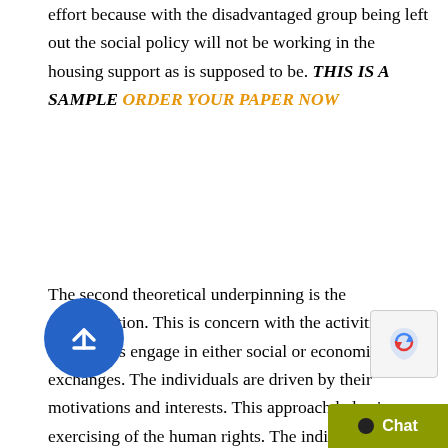effort because with the disadvantaged group being left out the social policy will not be working in the housing support as is supposed to be. THIS IS A SAMPLE ORDER YOUR PAPER NOW
The second theoretical underpinning is the specialization. This is concern with the activities individuals engage in either social or economic exchanges. The individuals are driven by their motivations and interests. This approach helps in exercising of the human rights. The individuals are only targeting achievement of their needs. The government in this case supports the warfare by paying the workers. There will be no working ethics which will lead to conflicts in housing support. This is because the individuals are only concern with meeting their needs but not helping each other (Jamrozik, 2009). Social policy works better in housing support when the members the community its members...